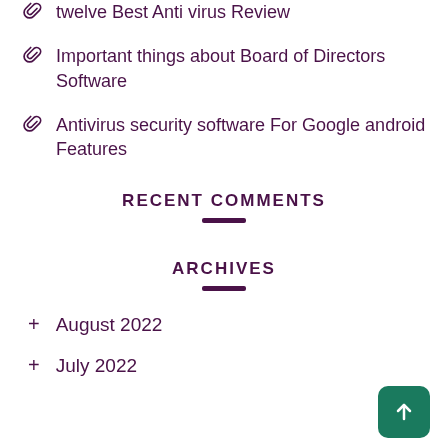twelve Best Anti virus Review
Important things about Board of Directors Software
Antivirus security software For Google android Features
RECENT COMMENTS
ARCHIVES
+ August 2022
+ July 2022